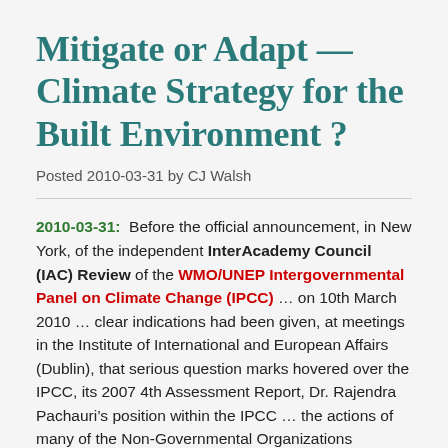Mitigate or Adapt — Climate Strategy for the Built Environment ?
Posted 2010-03-31 by CJ Walsh
2010-03-31:  Before the official announcement, in New York, of the independent InterAcademy Council (IAC) Review of the WMO/UNEP Intergovernmental Panel on Climate Change (IPCC) ... on 10th March 2010 ... clear indications had been given, at meetings in the Institute of International and European Affairs (Dublin), that serious question marks hovered over the IPCC, its 2007 4th Assessment Report, Dr. Rajendra Pachauri's position within the IPCC ... the actions of many of the Non-Governmental Organizations (NGO's) who were at Copenhagen during the 2009 UNFCCC Climate Change